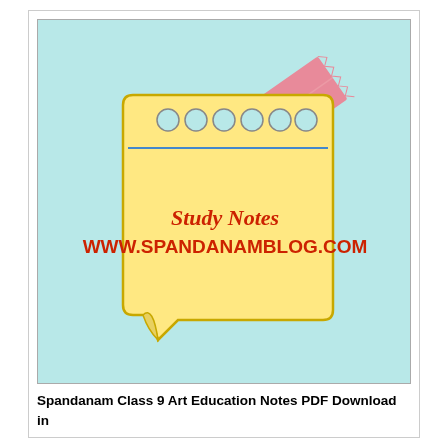[Figure (illustration): Illustration of a yellow sticky note with hole punches along the top, a blue horizontal line near the top, a pink tape strip holding it diagonally, and red text reading 'Study Notes' and 'WWW.SPANDANAMBLOG.COM' on a light blue/teal background.]
Spandanam Class 9 Art Education Notes PDF Download in